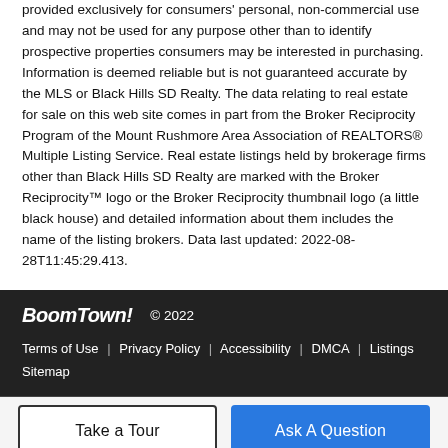provided exclusively for consumers' personal, non-commercial use and may not be used for any purpose other than to identify prospective properties consumers may be interested in purchasing. Information is deemed reliable but is not guaranteed accurate by the MLS or Black Hills SD Realty. The data relating to real estate for sale on this web site comes in part from the Broker Reciprocity Program of the Mount Rushmore Area Association of REALTORS® Multiple Listing Service. Real estate listings held by brokerage firms other than Black Hills SD Realty are marked with the Broker Reciprocity™ logo or the Broker Reciprocity thumbnail logo (a little black house) and detailed information about them includes the name of the listing brokers. Data last updated: 2022-08-28T11:45:29.413.
BoomTown! © 2022 | Terms of Use | Privacy Policy | Accessibility | DMCA | Listings Sitemap
Take a Tour | Ask A Question